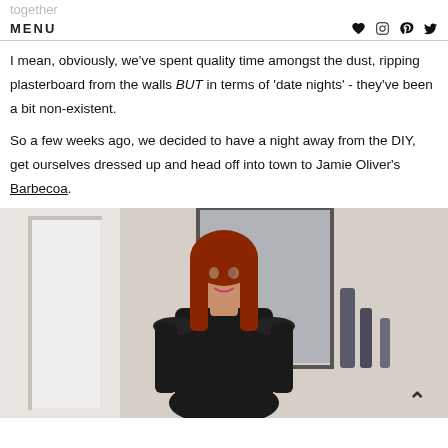together
MENU
I mean, obviously, we've spent quality time amongst the dust, ripping plasterboard from the walls BUT in terms of 'date nights' - they've been a bit non-existent.
So a few weeks ago, we decided to have a night away from the DIY, get ourselves dressed up and head off into town to Jamie Oliver's Barbecoa.
[Figure (photo): Woman with auburn/red hair wearing a black off-shoulder ruffled dress, standing in front of a mirror in a room with white walls and a framed artwork.]